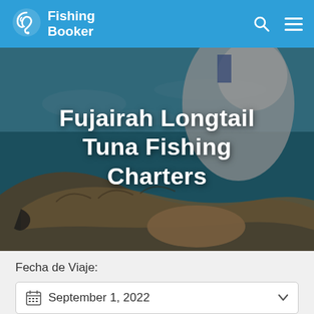[Figure (logo): Fishing Booker logo with fish hook icon and text in white on blue navbar]
[Figure (photo): Photo of a person holding a longtail tuna fish, with ocean/teal water in the background. Overlaid white bold title text.]
Fujairah Longtail Tuna Fishing Charters
Fecha de Viaje:
September 1, 2022
Tamaño del Grupo: